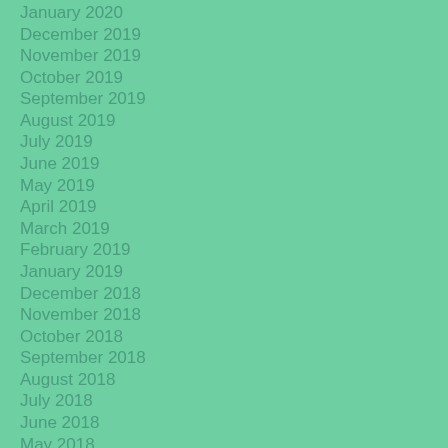January 2020
December 2019
November 2019
October 2019
September 2019
August 2019
July 2019
June 2019
May 2019
April 2019
March 2019
February 2019
January 2019
December 2018
November 2018
October 2018
September 2018
August 2018
July 2018
June 2018
May 2018
April 2018
March 2018